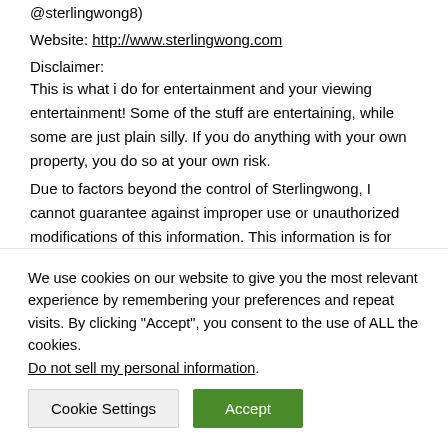@sterlingwong8)
Website: http://www.sterlingwong.com
Disclaimer:
This is what i do for entertainment and your viewing entertainment! Some of the stuff are entertaining, while some are just plain silly. If you do anything with your own property, you do so at your own risk.
Due to factors beyond the control of Sterlingwong, I cannot guarantee against improper use or unauthorized modifications of this information. This information is for
We use cookies on our website to give you the most relevant experience by remembering your preferences and repeat visits. By clicking "Accept", you consent to the use of ALL the cookies.
Do not sell my personal information.
Cookie Settings
Accept